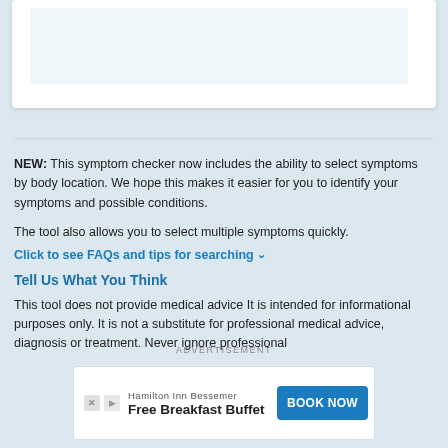[Figure (other): White card with a light blue inner rectangle, representing a symptom checker UI widget at the top of the page]
NEW: This symptom checker now includes the ability to select symptoms by body location. We hope this makes it easier for you to identify your symptoms and possible conditions.
The tool also allows you to select multiple symptoms quickly.
Click to see FAQs and tips for searching ∨
Tell Us What You Think
This tool does not provide medical advice It is intended for informational purposes only. It is not a substitute for professional medical advice, diagnosis or treatment. Never ignore professional
[Figure (other): Advertisement banner for Hamilton Inn Bessemer featuring Free Breakfast Buffet and a blue BOOK NOW button]